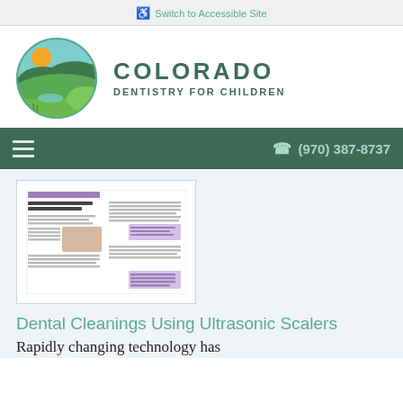♿ Switch to Accessible Site
[Figure (logo): Colorado Dentistry for Children logo: circular illustration of mountains, sky, and landscape with a sun, next to text COLORADO DENTISTRY FOR CHILDREN]
☎ (970) 387-8737
[Figure (screenshot): Thumbnail image of a dental article titled 'Dental Cleanings Using Ultrasonic Scalers' showing a two-page spread with text columns and an image of a dental procedure]
Dental Cleanings Using Ultrasonic Scalers
Rapidly changing technology has